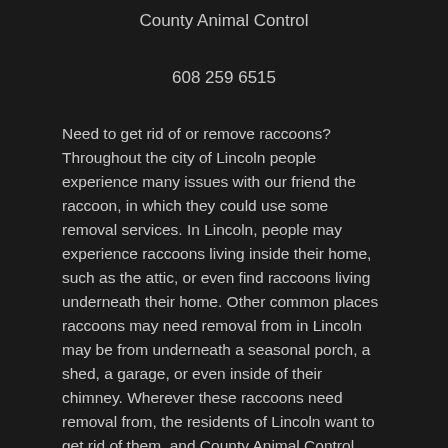County Animal Control
608 259 6515
Need to get rid of or remove raccoons? Throughout the city of Lincoln people experience many issues with our friend the raccoon, in which they could use some removal services. In Lincoln, people may experience raccoons living inside their home, such as the attic, or even find raccoons living underneath their home. Other common places raccoons may need removal from in Lincoln may be from underneath a seasonal porch, a shed, a garage, or even inside of their chimney. Wherever these raccoons need removal from, the residents of Lincoln want to get rid of them, and County Animal Control happens to specialize in raccoon removal! County Animal Control provides raccoon removal services in Lincoln and many nearby cities. Getting rid of raccoons can be done by a few different removal methods. Our Lincoln raccoon removal service consists of trapping the raccoon and then relocating the raccoon far away from the catch site to ensure the raccoon will not be seen near your premises